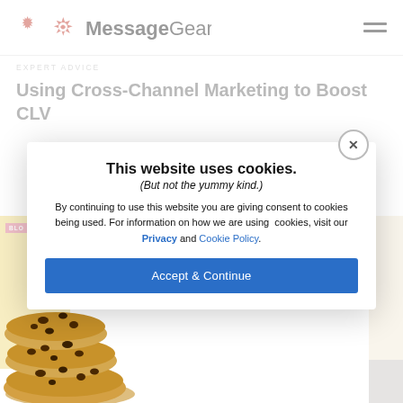MessageGears
EXPERT ADVICE
Using Cross-Channel Marketing to Boost CLV
[Figure (screenshot): Cookie consent modal overlay on MessageGears blog page. Modal contains title 'This website uses cookies.', subtitle '(But not the yummy kind.)', body text about cookie consent, links to Privacy and Cookie Policy, and an 'Accept & Continue' blue button. A chocolate chip cookie image is in the bottom-left.]
This website uses cookies.
(But not the yummy kind.)
By continuing to use this website you are giving consent to cookies being used. For information on how we are using cookies, visit our Privacy and Cookie Policy.
Accept & Continue